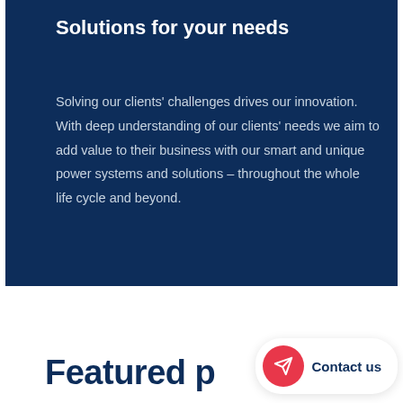Solutions for your needs
Solving our clients' challenges drives our innovation. With deep understanding of our clients' needs we aim to add value to their business with our smart and unique power systems and solutions – throughout the whole life cycle and beyond.
Featured p
[Figure (other): Red circular button with paper plane / send icon, next to a Contact us label on a white rounded pill button]